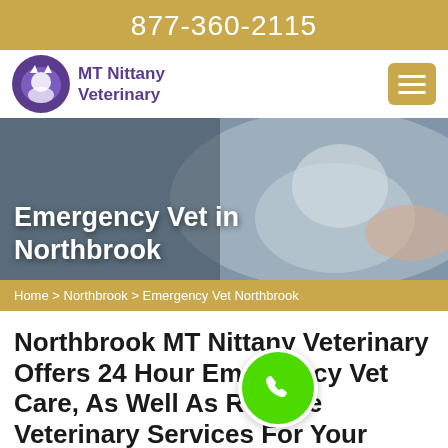877-360-2115
[Figure (logo): MT Nittany Veterinary logo — purple shield with cat and dog silhouette]
Emergency Vet in Northbrook
Home > Northbrook > Emergency Vet Northbrook
Northbrook MT Nittany Veterinary Offers 24 Hour Emergency Vet Care, As Well As Routine Veterinary Services For Your Pets. Our